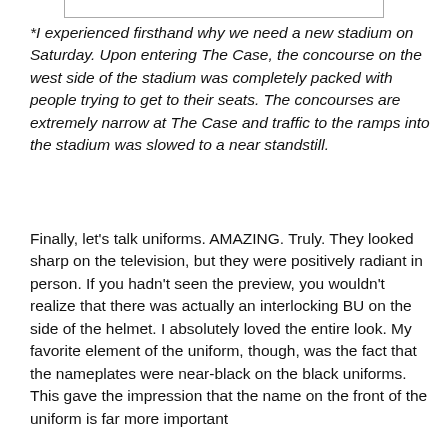*I experienced firsthand why we need a new stadium on Saturday. Upon entering The Case, the concourse on the west side of the stadium was completely packed with people trying to get to their seats. The concourses are extremely narrow at The Case and traffic to the ramps into the stadium was slowed to a near standstill.
Finally, let's talk uniforms. AMAZING. Truly. They looked sharp on the television, but they were positively radiant in person. If you hadn't seen the preview, you wouldn't realize that there was actually an interlocking BU on the side of the helmet. I absolutely loved the entire look. My favorite element of the uniform, though, was the fact that the nameplates were near-black on the black uniforms. This gave the impression that the name on the front of the uniform is far more important